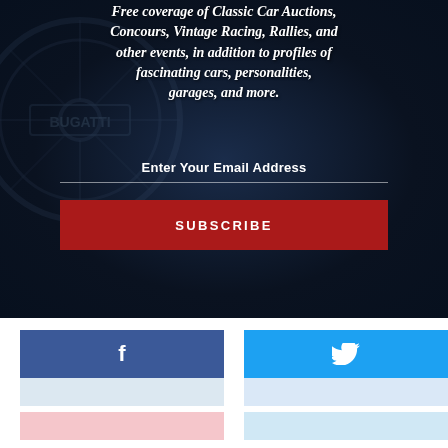[Figure (screenshot): Dark navy background with Bugatti wheel/logo watermark, newsletter subscription section with bold italic white text reading 'Free coverage of Classic Car Auctions, Concours, Vintage Racing, Rallies, and other events, in addition to profiles of fascinating cars, personalities, garages, and more.' followed by an email input line and a dark red SUBSCRIBE button.]
Free coverage of Classic Car Auctions, Concours, Vintage Racing, Rallies, and other events, in addition to profiles of fascinating cars, personalities, garages, and more.
Enter Your Email Address
SUBSCRIBE
[Figure (screenshot): Facebook share button (blue top with 'f' icon, light blue bottom count area) on the left, Twitter share button (sky blue top with bird icon, light blue bottom count area) on the right. Below those are partial pink and light blue button strips.]